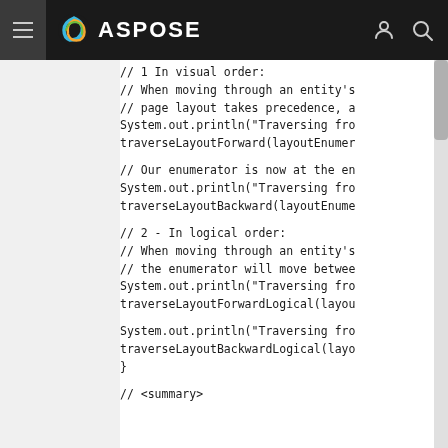ASPOSE
// 1   In visual order:
// When moving through an entity's
// page layout takes precedence, a
System.out.println("Traversing fro
traverseLayoutForward(layoutEnumer

// Our enumerator is now at the en
System.out.println("Traversing fro
traverseLayoutBackward(layoutEnume

// 2 -  In logical order:
// When moving through an entity's
// the enumerator will move betwee
System.out.println("Traversing fro
traverseLayoutForwardLogical(layou

System.out.println("Traversing fro
traverseLayoutBackwardLogical(layo
}

// <summary>